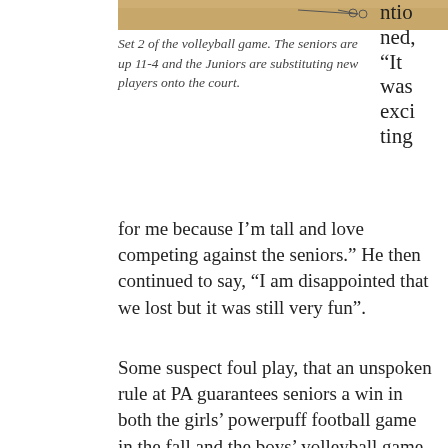[Figure (photo): Top portion of a volleyball game photo showing a wooden gym floor, partially cropped at top of page]
Set 2 of the volleyball game. The seniors are up 11-4 and the Juniors are substituting new players onto the court.
ntioned, “It was exciting for me because I’m tall and love competing against the seniors.” He then continued to say, “I am disappointed that we lost but it was still very fun”.
Some suspect foul play, that an unspoken rule at PA guarantees seniors a win in both the girls’ powerpuff football game in the fall and the boys’ volleyball game. Juniors, logically, are opposed to the idea, but others say it makes sense and should remain a rule. Eli Santelmen 22’, an underclassmen who watched the game, commented, “I think it’s a little fair for the game to be rigged, it makes it more fun for the seniors since it’s their last year, but at the